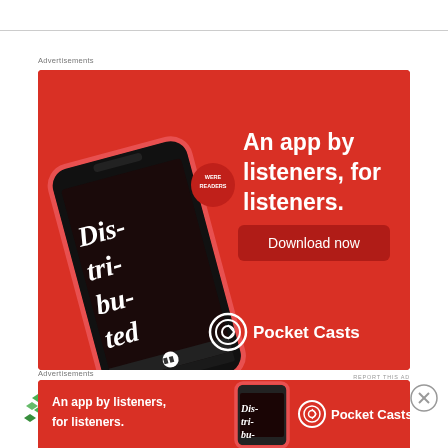Advertisements
[Figure (illustration): Pocket Casts advertisement banner. Red background with a smartphone showing a podcast app interface with 'Dis-tri-buted' text on screen. Right side shows text 'An app by listeners, for listeners.' with a 'Download now' button and Pocket Casts logo at bottom.]
REPORT THIS AD
[Figure (logo): Small green diamond/arrow logo icon]
G Barry
[Figure (illustration): Close/dismiss button (X in circle)]
Advertisements
[Figure (illustration): Pocket Casts bottom banner advertisement. Red background with text 'An app by listeners, for listeners.' on left, phone image in center, Pocket Casts logo on right.]